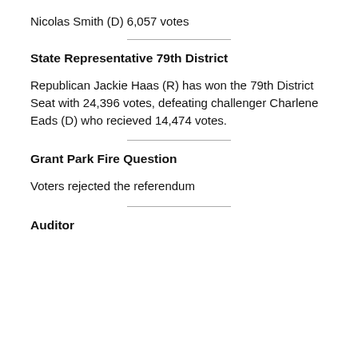Nicolas Smith (D) 6,057 votes
State Representative 79th District
Republican Jackie Haas (R) has won the 79th District Seat with 24,396 votes, defeating challenger Charlene Eads (D) who recieved 14,474 votes.
Grant Park Fire Question
Voters rejected the referendum
Auditor